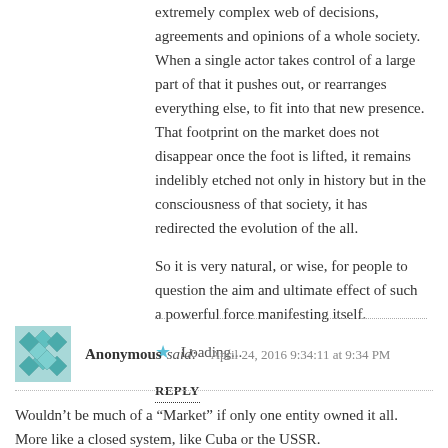extremely complex web of decisions, agreements and opinions of a whole society. When a single actor takes control of a large part of that it pushes out, or rearranges everything else, to fit into that new presence. That footprint on the market does not disappear once the foot is lifted, it remains indelibly etched not only in history but in the consciousness of that society, it has redirected the evolution of the all.
So it is very natural, or wise, for people to question the aim and ultimate effect of such a powerful force manifesting itself.
Loading...
REPLY
Anonymous said: April 24, 2016 9:34:11 at 9:34 PM
Wouldn't be much of a “Market” if only one entity owned it all. More like a closed system, like Cuba or the USSR.